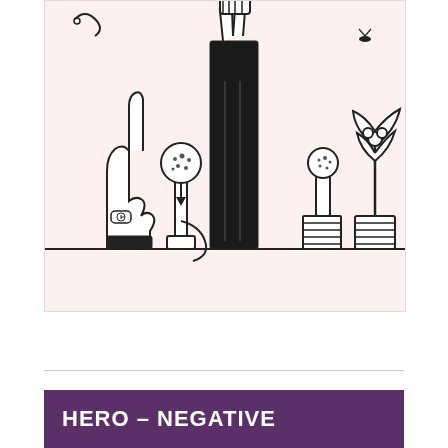[Figure (illustration): Black and white line drawing on a light pink background showing several stylized figures: a hand with pointing finger wearing a watch on the left, a stick figure with a round head holding a microphone, a tall dark rectangular podium/pillar in the center with a hand holding something at the top, a smaller figure with a round head on a striped pedestal, and a plant in a striped pot on the right. Small decorative elements including a fly and swirls in the background.]
HERO – NEGATIVE